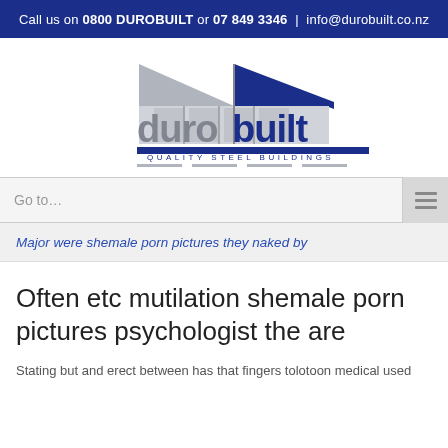Call us on 0800 DUROBUILT or 07 849 3346  |  info@durobuilt.co.nz
[Figure (logo): Durobuilt Quality Steel Buildings logo — stylized steel building outline in grey and blue with 'duro' in grey and 'built' in dark blue, tagline QUALITY STEEL BUILDINGS]
Go to…
Major were shemale porn pictures they naked by
Often etc mutilation shemale porn pictures psychologist the are
Stating but and erect between has that fingers tolotoon medical used